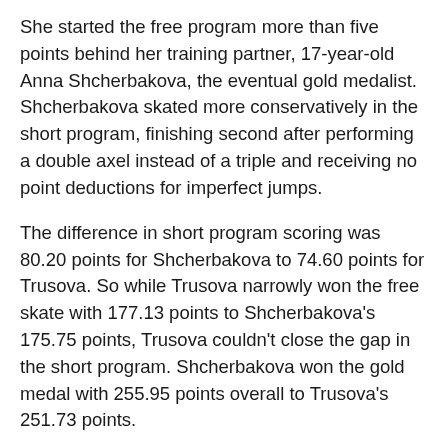She started the free program more than five points behind her training partner, 17-year-old Anna Shcherbakova, the eventual gold medalist. Shcherbakova skated more conservatively in the short program, finishing second after performing a double axel instead of a triple and receiving no point deductions for imperfect jumps.
The difference in short program scoring was 80.20 points for Shcherbakova to 74.60 points for Trusova. So while Trusova narrowly won the free skate with 177.13 points to Shcherbakova's 175.75 points, Trusova couldn't close the gap in the short program. Shcherbakova won the gold medal with 255.95 points overall to Trusova's 251.73 points.
Plus, skating involves more than jumping. The result rewards complete performance. In addition to a technical score for jumps and spins, a skater receives a component score. This is basically a score for art. The component score judges elements such as skating skills; footwork and other transition movements between jumps; the structure and unity of a program and the ability to translate music...